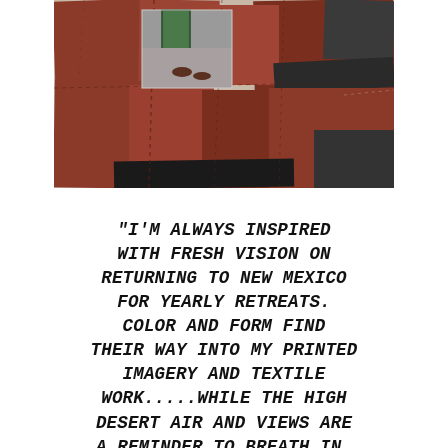[Figure (photo): A textile artwork or garment made of patchwork panels in shades of brick red, rust, and dark gray/black. A small inset photographic image shows feet/shoes on a concrete surface near a green door. The overall piece appears to be a large quilt-like textile hanging.]
"I'M ALWAYS INSPIRED WITH FRESH VISION ON RETURNING TO NEW MEXICO FOR YEARLY RETREATS. COLOR AND FORM FIND THEIR WAY INTO MY PRINTED IMAGERY AND TEXTILE WORK.....WHILE THE HIGH DESERT AIR AND VIEWS ARE A REMINDER TO BREATH IN,